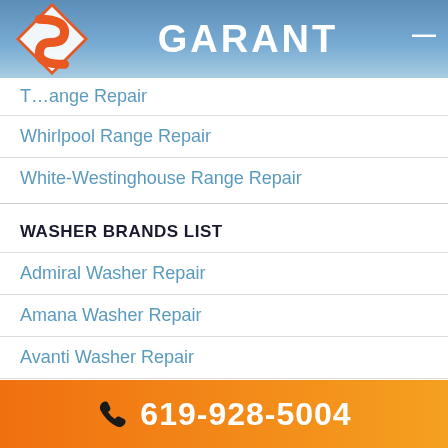GARANT
T... Range Repair
Whirlpool Range Repair
White-Westinghouse Range Repair
WASHER BRANDS LIST
Admiral Washer Repair
Amana Washer Repair
Avanti Washer Repair
Bosch Washer Repair
Electrolux Washer Repair
619-928-5004